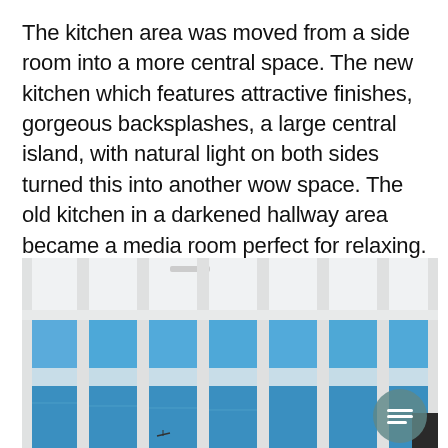The kitchen area was moved from a side room into a more central space. The new kitchen which features attractive finishes, gorgeous backsplashes, a large central island, with natural light on both sides turned this into another wow space. The old kitchen in a darkened hallway area became a media room perfect for relaxing.
[Figure (photo): Interior photo showing large floor-to-ceiling white-framed sliding glass doors/windows with a view of blue ocean and sky beyond. A teal circular chat button with a message icon is overlaid in the lower right of the image.]